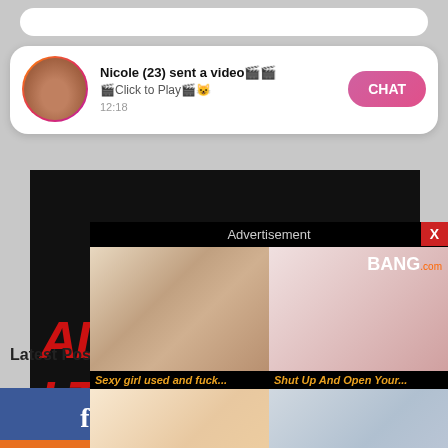[Figure (screenshot): Notification popup showing 'Nicole (23) sent a video' with avatar, Click to Play text, timestamp 12:18, and CHAT button]
[Figure (screenshot): Adult movies website banner with red text on black background]
[Figure (screenshot): Bang.com advertisement overlay with grid of adult video thumbnails titled 'Sexy girl used and fuck...' and 'Shut Up And Open Your...']
Latest Posts
[Figure (screenshot): Facebook and Twitter social share buttons at bottom of page]